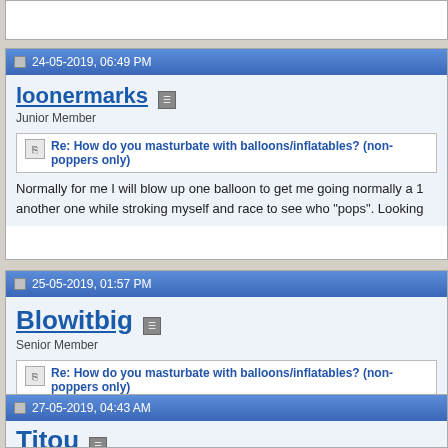24-05-2019, 06:49 PM
loonermarks
Junior Member
Re: How do you masturbate with balloons/inflatables? (non-poppers only)
Normally for me I will blow up one balloon to get me going normally a 1 another one while stroking myself and race to see who "pops". Looking
25-05-2019, 01:57 PM
Blowitbig
Senior Member
Re: How do you masturbate with balloons/inflatables? (non-poppers only)
I enjoy riding my tt 17 inch balloon ( untied and pinching the mouthpiece theres just something about blowing while riding a big tight balloon.
Just blow it till it's huge
27-05-2019, 04:43 AM
Titou